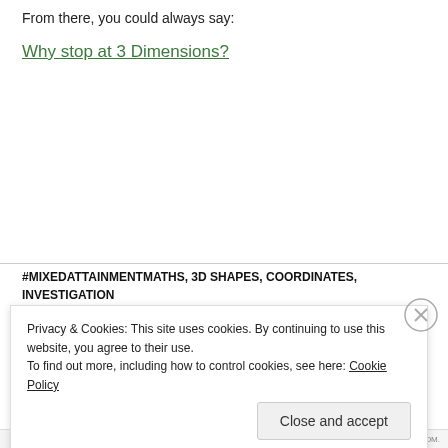From there, you could always say:
Why stop at 3 Dimensions?
#MIXEDATTAINMENTMATHS, 3D SHAPES, COORDINATES, INVESTIGATION
Privacy & Cookies: This site uses cookies. By continuing to use this website, you agree to their use.
To find out more, including how to control cookies, see here: Cookie Policy
Close and accept